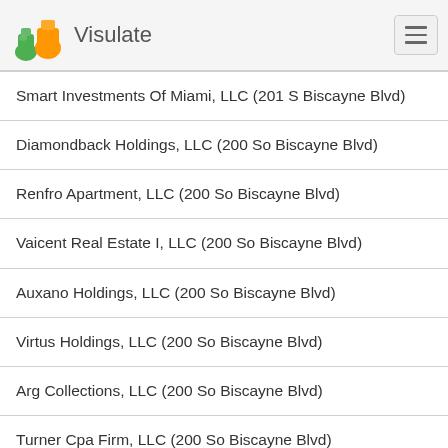Visulate
Smart Investments Of Miami, LLC (201 S Biscayne Blvd)
Diamondback Holdings, LLC (200 So Biscayne Blvd)
Renfro Apartment, LLC (200 So Biscayne Blvd)
Vaicent Real Estate I, LLC (200 So Biscayne Blvd)
Auxano Holdings, LLC (200 So Biscayne Blvd)
Virtus Holdings, LLC (200 So Biscayne Blvd)
Arg Collections, LLC (200 So Biscayne Blvd)
Turner Cpa Firm, LLC (200 So Biscayne Blvd)
Hammock Growers, LLC (200 So Biscayne Blvd)
A.F. Holdings Limited, L.L.C. (200 So Biscayne Blvd)